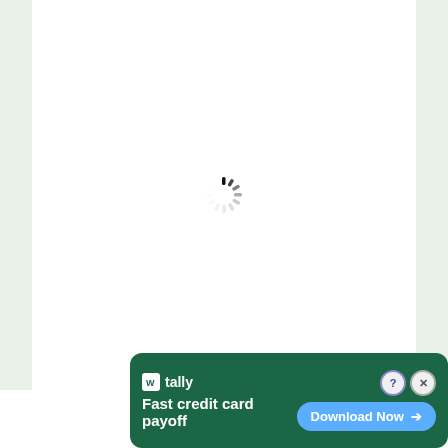[Figure (other): Loading spinner (circular animated loader) centered on white page with green side borders]
[Figure (other): Advertisement banner for Tally app: dark green background, Tally logo with W icon, tagline 'Fast credit card payoff', blue 'Download Now' button with arrow, close and help buttons in top right corner]